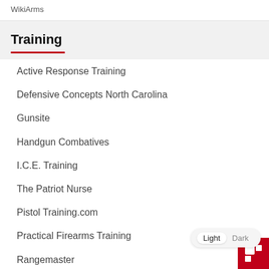WikiArms
Training
Active Response Training
Defensive Concepts North Carolina
Gunsite
Handgun Combatives
I.C.E. Training
The Patriot Nurse
Pistol Training.com
Practical Firearms Training
Rangemaster
Shootrite Firearms Academy